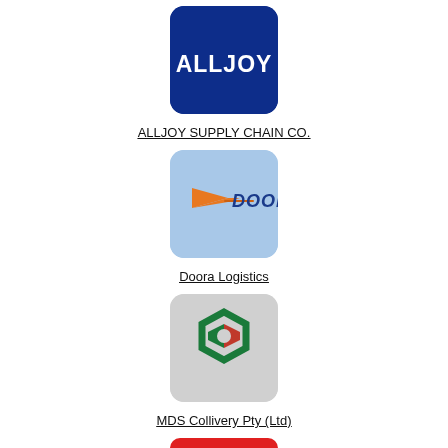[Figure (logo): ALLJOY logo: white bold text on dark blue rounded square]
ALLJOY SUPPLY CHAIN CO.
[Figure (logo): Doora Logistics logo: orange arrow/bird shape with DOORA text on light blue rounded square]
Doora Logistics
[Figure (logo): MDS Collivery logo: green hexagon outline with red/green inner shape on grey rounded square]
MDS Collivery Pty (Ltd)
[Figure (logo): Partial red rounded square logo at bottom, cut off]